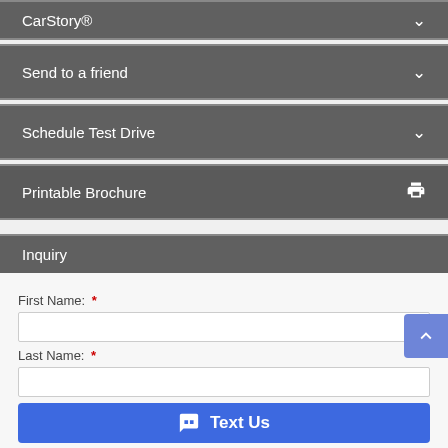CarStory®
Send to a friend
Schedule Test Drive
Printable Brochure
Inquiry
First Name: *
Last Name: *
Text Us